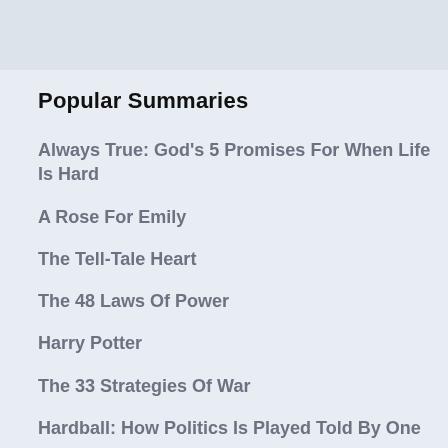Popular Summaries
Always True: God's 5 Promises For When Life Is Hard
A Rose For Emily
The Tell-Tale Heart
The 48 Laws Of Power
Harry Potter
The 33 Strategies Of War
Hardball: How Politics Is Played Told By One